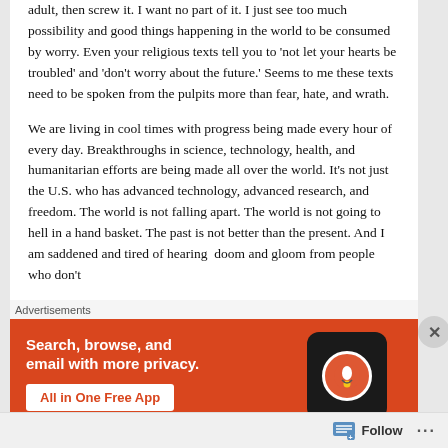adult, then screw it.  I want no part of it.  I just see too much possibility and good things happening in the world to be consumed by worry.  Even your religious texts tell you to 'not let your hearts be troubled' and 'don't worry about the future.'  Seems to me these texts need to be spoken from the pulpits more than fear, hate, and wrath.
We are living in cool times with progress being made every hour of every day.  Breakthroughs in science, technology, health, and humanitarian efforts are being made all over the world.  It's not just the U.S. who has advanced technology, advanced research, and freedom.  The world is not falling apart.  The world is not going to hell in a hand basket.  The past is not better than the present.  And I am saddened and tired of hearing  doom and gloom from people who don't
Advertisements
[Figure (infographic): DuckDuckGo advertisement banner with orange background. Text: 'Search, browse, and email with more privacy.' with 'All in One Free App' CTA button. Shows a smartphone mockup with DuckDuckGo logo.]
Follow ···